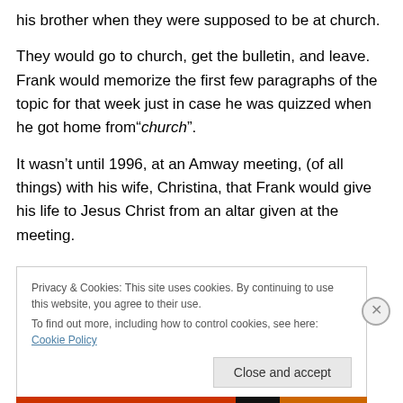his brother when they were supposed to be at church.
They would go to church, get the bulletin, and leave. Frank would memorize the first few paragraphs of the topic for that week just in case he was quizzed when he got home from“church”.
It wasn’t until 1996, at an Amway meeting, (of all things) with his wife, Christina, that Frank would give his life to Jesus Christ from an altar given at the meeting.
Privacy & Cookies: This site uses cookies. By continuing to use this website, you agree to their use.
To find out more, including how to control cookies, see here: Cookie Policy